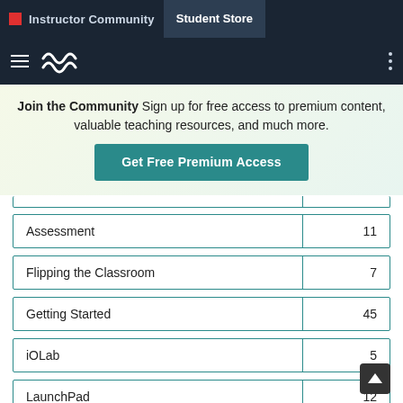Instructor Community | Student Store
Join the Community  Sign up for free access to premium content, valuable teaching resources, and much more.
Get Free Premium Access
| Category | Count |
| --- | --- |
| Assessment | 11 |
| Flipping the Classroom | 7 |
| Getting Started | 45 |
| iOLab | 5 |
| LaunchPad | 12 |
| Learning | 1 |